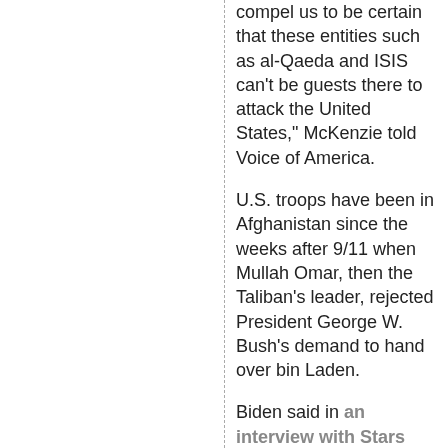compel us to be certain that these entities such as al-Qaeda and ISIS can't be guests there to attack the United States," McKenzie told Voice of America.
U.S. troops have been in Afghanistan since the weeks after 9/11 when Mullah Omar, then the Taliban's leader, rejected President George W. Bush's demand to hand over bin Laden.
Biden said in an interview with Stars and Stripes on Thursday that he supports drawing down troops in the